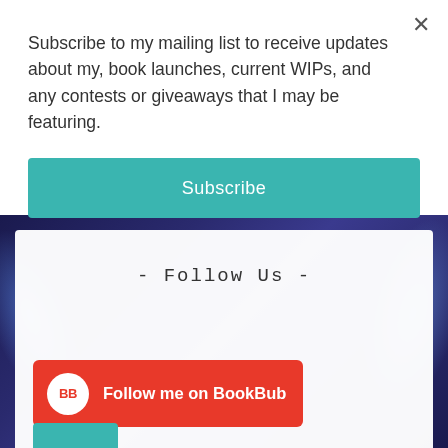Subscribe to my mailing list to receive updates about my, book launches, current WIPs, and any contests or giveaways that I may be featuring.
[Figure (screenshot): Teal Subscribe button]
- Follow Us -
[Figure (screenshot): Red BookBub button with BB logo circle and text 'Follow me on BookBub']
[Figure (screenshot): Partial teal button at bottom edge]